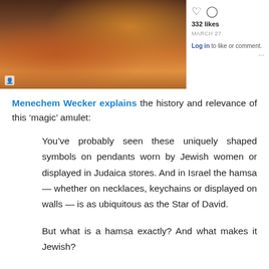[Figure (photo): Instagram post showing a photo of people with bags, with like/comment icons, 332 likes, date March 27, and a Log in to like or comment link]
Menechem Wecker explains the history and relevance of this ‘magic’ amulet:
You’ve probably seen these uniquely shaped symbols on pendants worn by Jewish women or displayed in Judaica stores. And in Israel the hamsa — whether on necklaces, keychains or displayed on walls — is as ubiquitous as the Star of David.
But what is a hamsa exactly? And what makes it Jewish?
This symbol of an eye embedded in the palm of an open hand has had numerous other names